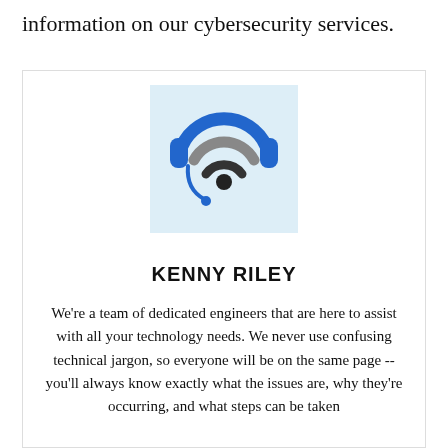information on our cybersecurity services.
[Figure (illustration): Customer support / tech support icon: a WiFi signal symbol combined with a headset (headphones with a microphone), in blue and gray tones on a light blue square background.]
KENNY RILEY
We're a team of dedicated engineers that are here to assist with all your technology needs. We never use confusing technical jargon, so everyone will be on the same page -- you'll always know exactly what the issues are, why they're occurring, and what steps can be taken